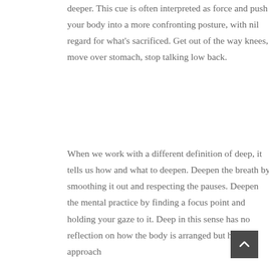deeper. This cue is often interpreted as force and push your body into a more confronting posture, with nil regard for what's sacrificed. Get out of the way knees, move over stomach, stop talking low back.
When we work with a different definition of deep, it tells us how and what to deepen. Deepen the breath by smoothing it out and respecting the pauses. Deepen the mental practice by finding a focus point and holding your gaze to it. Deep in this sense has no reflection on how the body is arranged but how we approach